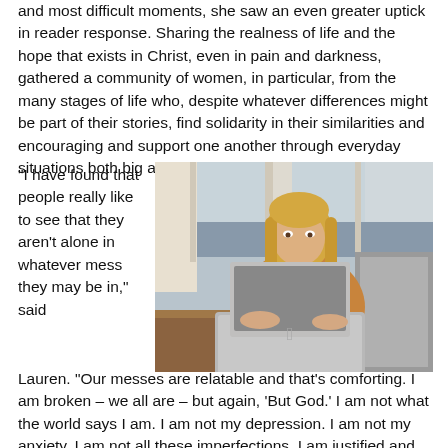and most difficult moments, she saw an even greater uptick in reader response. Sharing the realness of life and the hope that exists in Christ, even in pain and darkness, gathered a community of women, in particular, from the many stages of life who, despite whatever differences might be part of their stories, find solidarity in their similarities and encouraging and support one another through everyday situations both big and small.
“I have found that people really like to see that they aren’t alone in whatever mess they may be in,” said Lauren. “Our messes are relatable and that’s comforting. I am broken – we all are – but again, ‘But God.’ I am not what the world says I am. I am not my depression. I am not my anxiety. I am not all these imperfections. I am justified and sanctified by God. I think if
[Figure (photo): A young blonde woman sitting at a wooden table working on a silver MacBook laptop, wearing a leopard print top, with a window showing water/harbor view in the background and a grey couch visible.]